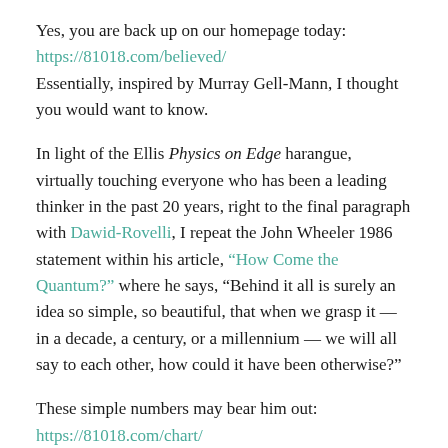Yes, you are back up on our homepage today:
https://81018.com/believed/
Essentially, inspired by Murray Gell-Mann, I thought you would want to know.
In light of the Ellis Physics on Edge harangue, virtually touching everyone who has been a leading thinker in the past 20 years, right to the final paragraph with Dawid-Rovelli, I repeat the John Wheeler 1986 statement within his article, “How Come the Quantum?” where he says, “Behind it all is surely an idea so simple, so beautiful, that when we grasp it — in a decade, a century, or a millennium — we will all say to each other, how could it have been otherwise?”
These simple numbers may bear him out:
https://81018.com/chart/
Simple processes, like Euler's equations and base 2